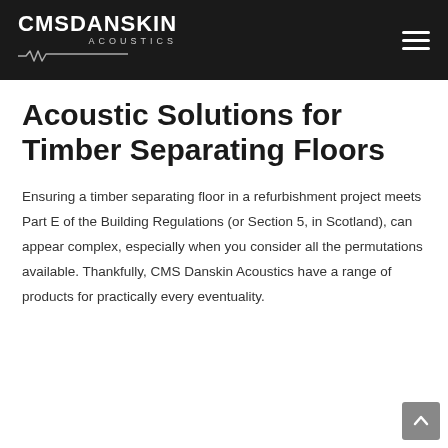CMSDANSKIN ACOUSTICS
Acoustic Solutions for Timber Separating Floors
Ensuring a timber separating floor in a refurbishment project meets Part E of the Building Regulations (or Section 5, in Scotland), can appear complex, especially when you consider all the permutations available. Thankfully, CMS Danskin Acoustics have a range of products for practically every eventuality.